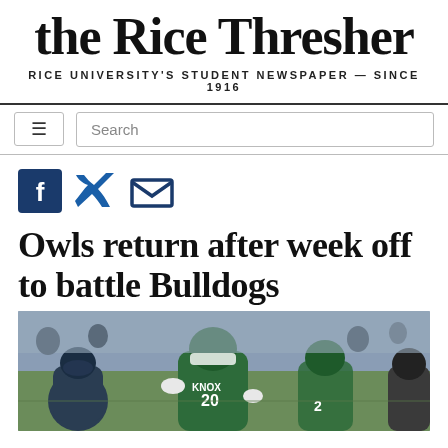the Rice Thresher
RICE UNIVERSITY'S STUDENT NEWSPAPER — SINCE 1916
[Figure (logo): Navigation bar with hamburger menu icon and search box]
[Figure (infographic): Social media sharing icons: Facebook, Twitter, Email]
Owls return after week off to battle Bulldogs
[Figure (photo): Football game action photo showing Rice Owls player #20 Knox in green and white uniform engaged with opposing team players]